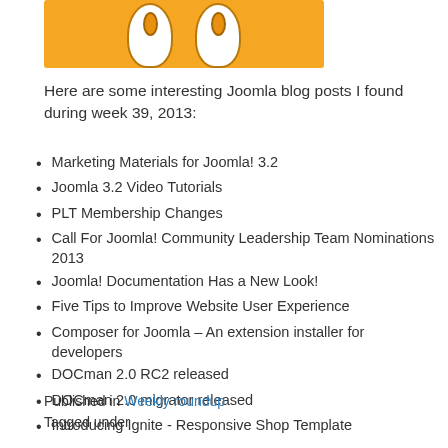[Figure (illustration): Partial view of a smiley face emoji with orange/yellow background, showing two eyes with white eye areas and orange pupils, cropped at the top]
Here are some interesting Joomla blog posts I found during week 39, 2013:
Marketing Materials for Joomla! 3.2
Joomla 3.2 Video Tutorials
PLT Membership Changes
Call For Joomla! Community Leadership Team Nominations 2013
Joomla! Documentation Has a New Look!
Five Tips to Improve Website User Experience
Composer for Joomla – An extension installer for developers
DOCman 2.0 RC2 released
DOCman 2.0 migrator released
Introducing Ignite - Responsive Shop Template
Published in Weekly roundup
Tagged under